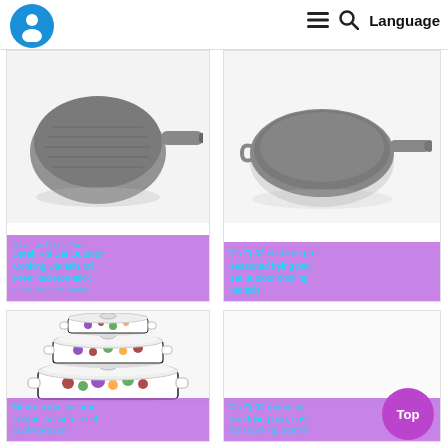[Figure (screenshot): Website header with logo (blue circle with white figure icon and blue scale-of-justice/Libra symbol), hamburger menu icon, search icon, and Language text]
[Figure (photo): Cast iron frying pan / griddle with handle, gray, top-left product card. Partial text overlay: Cast Iron Frying Pan Steak Pot Set Outdoor Cooking Utensils Oil Premixed Non-stick Pan Barbecue Baking]
Cast Iron Frying Pan Steak Pot Set Outdoor Cooking Utensils Oil Premixed Non-stick Pan Barbecue Baking
[Figure (photo): Cast iron pre-seasoned frying pan, round with long handle, gray, top-right product card]
Ds-Fp02 cast iron pre-seasoned frying pan set outdoor cooking utensils
[Figure (photo): Set of 3 white enamel casserole pots with lids decorated with colorful fruit pattern, stacked, bottom-left product card]
New design cast iron enamel casserdle set cookware pot
[Figure (photo): Ds-Fp02 round cast iron frying pan, cast iron cooking utensil, bottom-right product card (mostly blank/white area visible)]
Ds-Fp02 round cast iron frying pan, cast iron cooking utensil